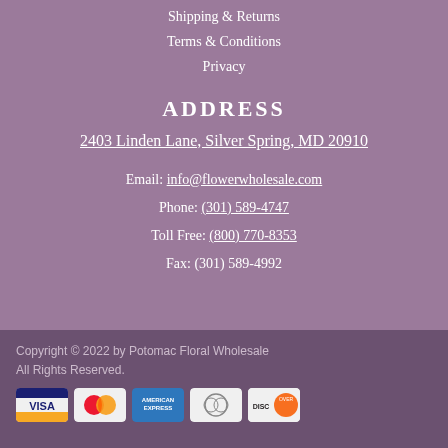Shipping & Returns
Terms & Conditions
Privacy
ADDRESS
2403 Linden Lane, Silver Spring, MD 20910
Email: info@flowerwholesale.com
Phone: (301) 589-4747
Toll Free: (800) 770-8353
Fax: (301) 589-4992
Copyright © 2022 by Potomac Floral Wholesale All Rights Reserved.
[Figure (other): Payment method icons: Visa, Mastercard, American Express, Diners Club, Discover]